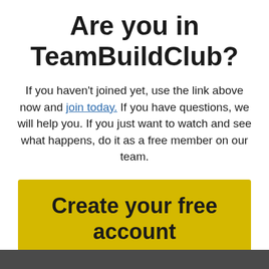Are you in TeamBuildClub?
If you haven't joined yet, use the link above now and join today. If you have questions, we will help you. If you just want to watch and see what happens, do it as a free member on our team.
Create your free account